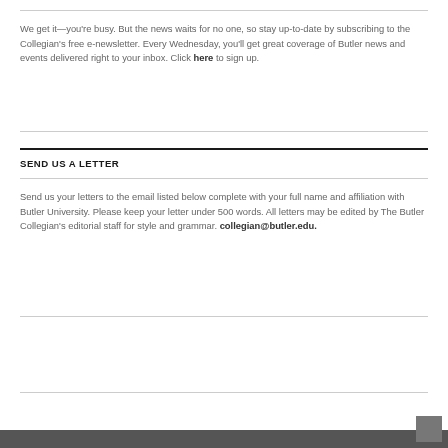We get it—you're busy. But the news waits for no one, so stay up-to-date by subscribing to the Collegian's free e-newsletter. Every Wednesday, you'll get great coverage of Butler news and events delivered right to your inbox. Click here to sign up.
SEND US A LETTER
Send us your letters to the email listed below complete with your full name and affiliation with Butler University. Please keep your letter under 500 words. All letters may be edited by The Butler Collegian's editorial staff for style and grammar. collegian@butler.edu.